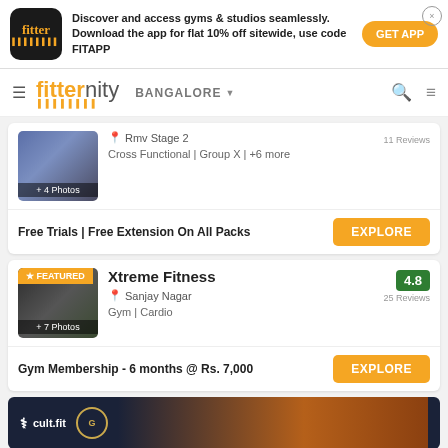[Figure (infographic): Fitter app advertisement banner with logo, promotional text, and GET APP button]
fitternity BANGALORE
[Figure (photo): Partial gym listing card with photo showing + 4 Photos, location Rmv Stage 2, 11 Reviews, activities Cross Functional | Group X | +6 more]
Rmv Stage 2
Cross Functional | Group X | +6 more
11 Reviews
Free Trials | Free Extension On All Packs
[Figure (photo): Xtreme Fitness gym listing with FEATURED ribbon, gym interior photo, rating 4.8, 25 Reviews, location Sanjay Nagar, activities Gym | Cardio]
Xtreme Fitness
Sanjay Nagar
Gym | Cardio
4.8
25 Reviews
Gym Membership - 6 months @ Rs. 7,000
[Figure (infographic): cult.fit banner with logo and Gold's Gym circle logo on dark blue background]